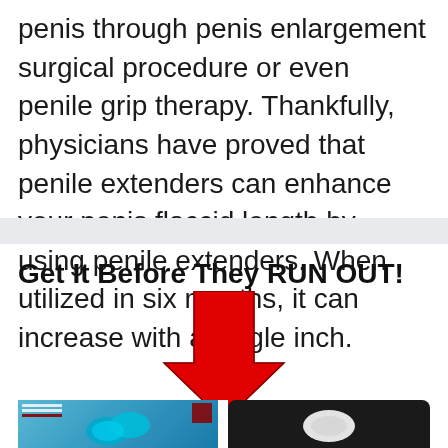penis through penis enlargement surgical procedure or even penile grip therapy. Thankfully, physicians have proved that penile extenders can enhance your penis flaccid length by using penile extenders. When utilized in six months, it can increase with a single inch.
Get It Before They RUN OUT!
[Figure (illustration): Large red downward-pointing arrow graphic used as a call-to-action visual element, pointing toward a product image strip at the bottom of the page.]
[Figure (photo): A partial product image strip at the bottom showing two items side by side: a blue product image on the left and a dark rounded device on the right.]